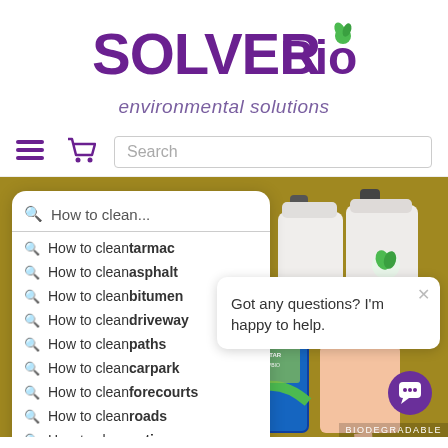[Figure (logo): SOLVERBio environmental solutions logo - SOLVER in bold purple, Bio in purple with a green leaf, tagline 'environmental solutions' in italic purple]
[Figure (screenshot): Navigation bar with hamburger menu icon, shopping cart icon in purple, and a search box with placeholder text 'Search']
[Figure (screenshot): Website screenshot on golden/olive background showing search autocomplete suggestions for 'How to clean...' listing tarmac, asphalt, bitumen, driveway, paths, carpark, forecourts, roads, patios. Product containers visible on right. Chat popup overlay: 'Got any questions? I'm happy to help.' with close X button. Purple chat button bottom right. BIODEGRADABLE label bottom right.]